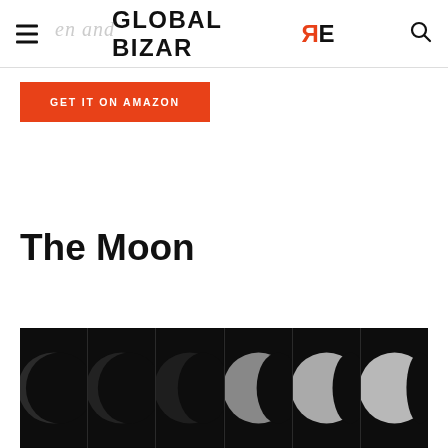GLOBAL BIZARRE
GET IT ON AMAZON
The Moon
[Figure (photo): Six phases of the moon shown in sequence from left to right, ranging from nearly full dark to a crescent, displayed as grayscale photographs against black backgrounds.]